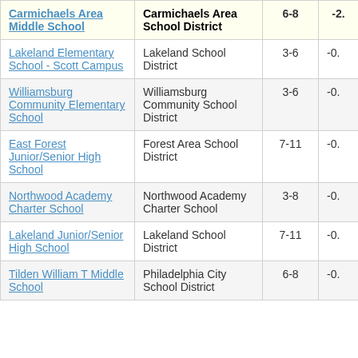| School | District | Grades | Score |
| --- | --- | --- | --- |
| Carmichaels Area Middle School | Carmichaels Area School District | 6-8 | -2. |
| Lakeland Elementary School - Scott Campus | Lakeland School District | 3-6 | -0. |
| Williamsburg Community Elementary School | Williamsburg Community School District | 3-6 | -0. |
| East Forest Junior/Senior High School | Forest Area School District | 7-11 | -0. |
| Northwood Academy Charter School | Northwood Academy Charter School | 3-8 | -0. |
| Lakeland Junior/Senior High School | Lakeland School District | 7-11 | -0. |
| Tilden William T Middle School | Philadelphia City School District | 6-8 | -0. |